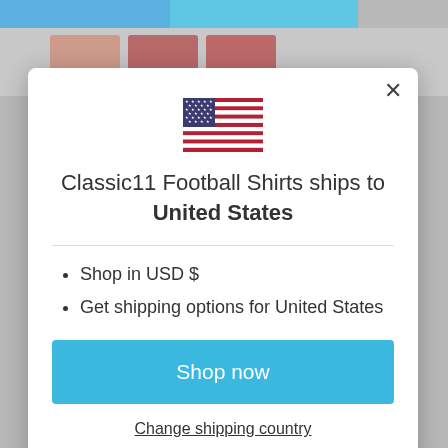[Figure (screenshot): Background of e-commerce website page showing navigation bar and product thumbnails]
[Figure (illustration): US flag SVG icon]
Classic11 Football Shirts ships to United States
Shop in USD $
Get shipping options for United States
Shop now
Change shipping country
Description